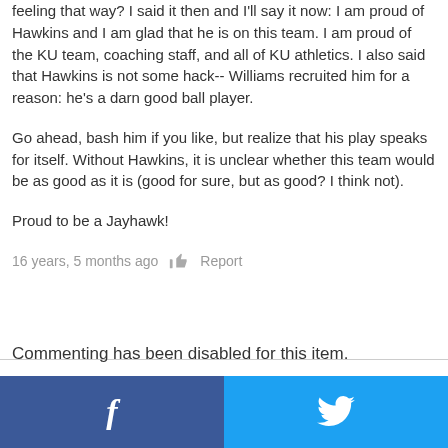feeling that way? I said it then and I'll say it now: I am proud of Hawkins and I am glad that he is on this team. I am proud of the KU team, coaching staff, and all of KU athletics. I also said that Hawkins is not some hack-- Williams recruited him for a reason: he's a darn good ball player.
Go ahead, bash him if you like, but realize that his play speaks for itself. Without Hawkins, it is unclear whether this team would be as good as it is (good for sure, but as good? I think not).
Proud to be a Jayhawk!
16 years, 5 months ago   [thumb icon]   Report
Commenting has been disabled for this item.
[Figure (other): Facebook and Twitter social share buttons at the bottom of the page]